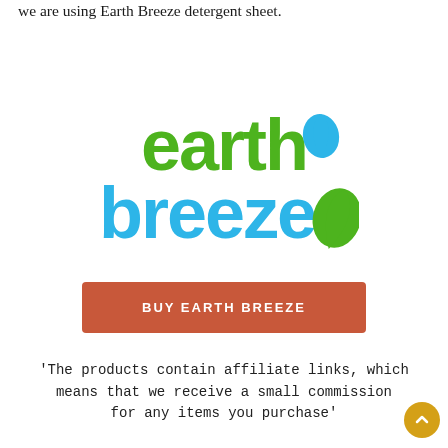we are using Earth Breeze detergent sheet.
[Figure (logo): Earth Breeze logo — 'earth' in green bold rounded font, 'breeze' in blue bold rounded font, with a blue teardrop and green leaf shape on the right side]
[Figure (other): Orange-red rectangular button with white bold uppercase text 'BUY EARTH BREEZE']
'The products contain affiliate links, which means that we receive a small commission for any items you purchase'